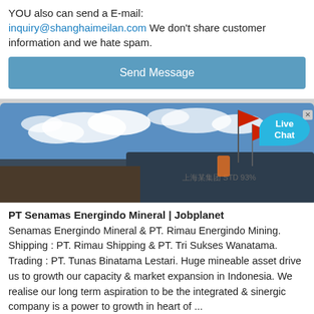YOU also can send a E-mail: inquiry@shanghaimeilan.com We don't share customer information and we hate spam.
[Figure (screenshot): A blue 'Send Message' button]
[Figure (photo): Outdoor photo with sky and clouds, flags visible, a dark vehicle or equipment with Chinese text, and a 'Live Chat' speech bubble overlay in the top right corner]
PT Senamas Energindo Mineral | Jobplanet
Senamas Energindo Mineral & PT. Rimau Energindo Mining. Shipping : PT. Rimau Shipping & PT. Tri Sukses Wanatama. Trading : PT. Tunas Binatama Lestari. Huge mineable asset drive us to growth our capacity & market expansion in Indonesia. We realise our long term aspiration to be the integrated & sinergic company is a power to growth in heart of ...
Profil perusahaan dan gaji di PT Senamas Energindo …
RIMAU GROUP is owner company for coal mining, shipping